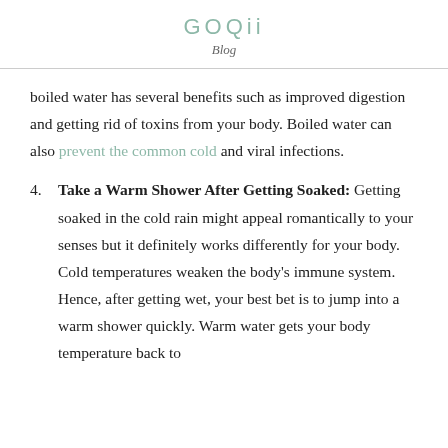GOQii
Blog
boiled water has several benefits such as improved digestion and getting rid of toxins from your body. Boiled water can also prevent the common cold and viral infections.
4. Take a Warm Shower After Getting Soaked: Getting soaked in the cold rain might appeal romantically to your senses but it definitely works differently for your body. Cold temperatures weaken the body's immune system. Hence, after getting wet, your best bet is to jump into a warm shower quickly. Warm water gets your body temperature back to